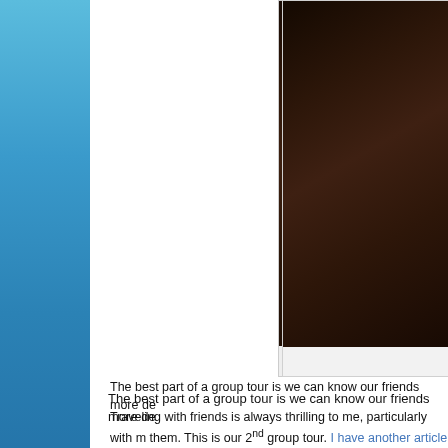[Figure (photo): Dark brown wooden surface or table texture photo]
The best part of a group tour is we can know our friends more de
Traveling with friends is always thrilling to me, particularly with m them. This is our 2nd group tour. I have another article where I w this article to describe my journey, my feelings and specially my
True HAppiness :)
Walking along the beach water at the full moon night with friends we used to walk along the beach in the evening and at night. I w
The idea of group tour comes from the married couple Zakir and 1st time they also took us with them. This time our feelings are d they become my good friends and now I am traveling with them